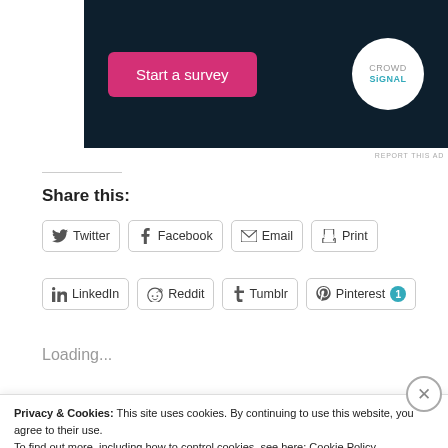[Figure (screenshot): Dark navy advertisement banner showing a pink 'Start a survey' button on the left and a circular Crowdsignal logo (white circle on dark background) on the right]
REPORT THIS AD
Share this:
Twitter  Facebook  Email  Print
LinkedIn  Reddit  Tumblr  Pinterest 1
Loading...
Privacy & Cookies: This site uses cookies. By continuing to use this website, you agree to their use.
To find out more, including how to control cookies, see here: Cookie Policy
Close and accept